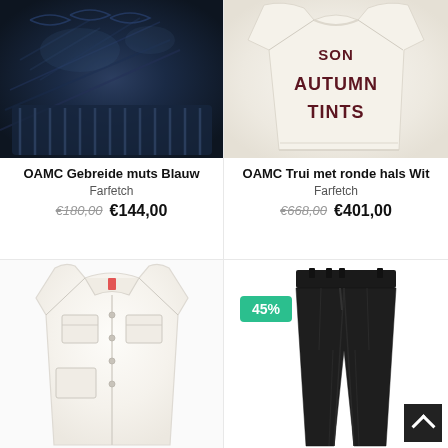[Figure (photo): Dark navy blue knitted beanie hat, textured cable-knit pattern]
OAMC Gebreide muts Blauw
Farfetch
€180,00  €144,00
[Figure (photo): Cream/white sweater with text 'AUTUMN TINTS' in dark red/burgundy letters]
OAMC Trui met ronde hals Wit
Farfetch
€668,00  €401,00
[Figure (photo): White/cream button-up workwear jacket with chest pockets]
[Figure (photo): Black tailored trousers/pants with 45% discount badge]